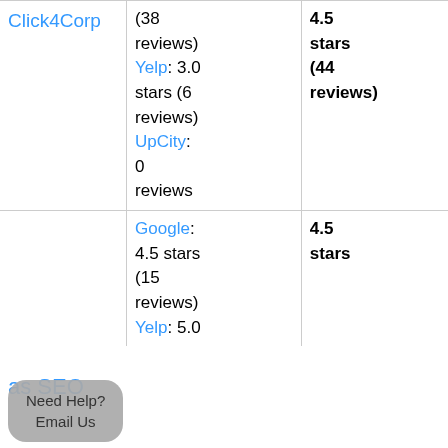| Company | Reviews | Rating |
| --- | --- | --- |
| Click4Corp | Google: (38 reviews) Yelp: 3.0 stars (6 reviews) UpCity: 0 reviews | 4.5 stars (44 reviews) |
| [partial: as SEO] | Google: 4.5 stars (15 reviews) Yelp: 5.0 | 4.5 stars |
Need Help? Email Us